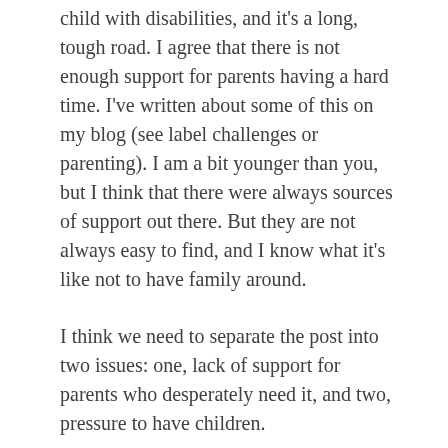child with disabilities, and it's a long, tough road. I agree that there is not enough support for parents having a hard time. I've written about some of this on my blog (see label challenges or parenting). I am a bit younger than you, but I think that there were always sources of support out there. But they are not always easy to find, and I know what it's like not to have family around.
I think we need to separate the post into two issues: one, lack of support for parents who desperately need it, and two, pressure to have children.
There is enormous pressure to have children